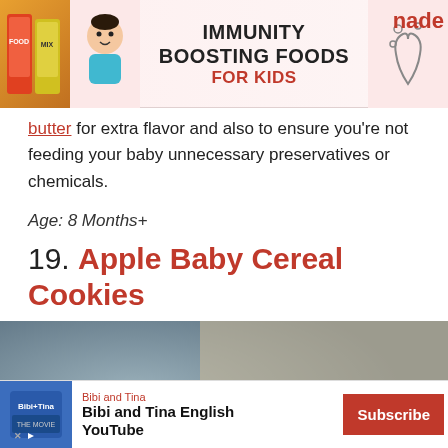[Figure (infographic): Advertisement banner for Immunity Boosting Foods for Kids with food packages, baby photo, and logo]
butter for extra flavor and also to ensure you're not feeding your baby unnecessary preservatives or chemicals.
Age: 8 Months+
19. Apple Baby Cereal Cookies
[Figure (photo): Close-up photo of apple baby cereal cookies, golden-brown baked cookies on a surface]
[Figure (infographic): Bottom advertisement for Bibi and Tina English YouTube channel with Subscribe button]